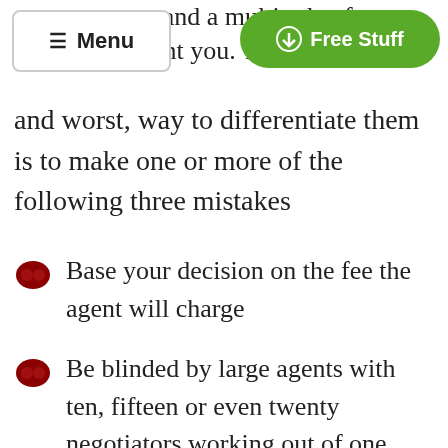your property and a multitude of d…ont you. T…
Menu | Free Stuff
and worst, way to differentiate them is to make one or more of the following three mistakes
Base your decision on the fee the agent will charge
Be blinded by large agents with ten, fifteen or even twenty negotiators working out of one office